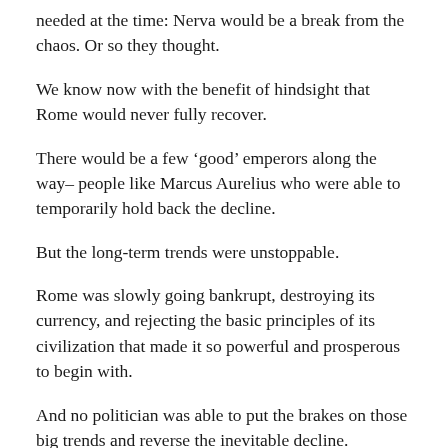needed at the time: Nerva would be a break from the chaos. Or so they thought.
We know now with the benefit of hindsight that Rome would never fully recover.
There would be a few ‘good’ emperors along the way– people like Marcus Aurelius who were able to temporarily hold back the decline.
But the long-term trends were unstoppable.
Rome was slowly going bankrupt, destroying its currency, and rejecting the basic principles of its civilization that made it so powerful and prosperous to begin with.
And no politician was able to put the brakes on those big trends and reverse the inevitable decline.
This is a common theme throughout history: empires rise and fall, and no one can stop it, but leaders from the edges of...